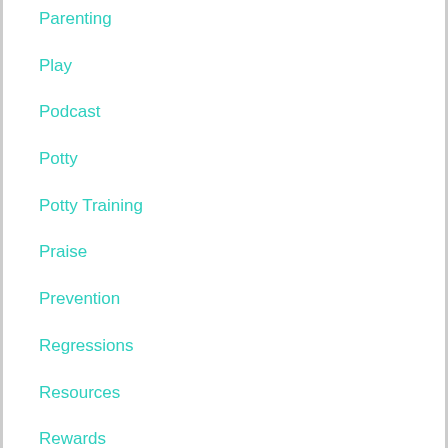Parenting
Play
Podcast
Potty
Potty Training
Praise
Prevention
Regressions
Resources
Rewards